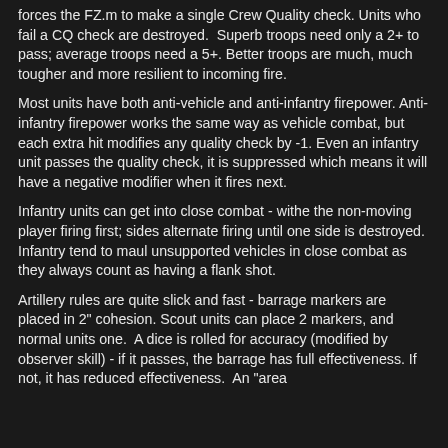forces the FZ.m to make a single Crew Quality check. Units who fail a CQ check are destroyed.  Superb troops need only a 2+ to pass; average troops need a 5+. Better troops are much, much tougher and more resilient to incoming fire.
Most units have both anti-vehicle and anti-infantry firepower. Anti-infantry firepower works the same way as vehicle combat, but each extra hit modifies any quality check by -1. Even an infantry unit passes the quality check, it is suppressed which means it will have a negative modifier when it fires next.
Infantry units can get into close combat - withe the non-moving player firing first; sides alternate firing until one side is destroyed. Infantry tend to maul unsupported vehicles in close combat as they always count as having a flank shot.
Artillery rules are quite slick and fast - barrage markers are placed in 2" cohesion. Scout units can place 2 markers, and normal units one.  A dice is rolled for accuracy (modified by observer skill) - if it passes, the barrage has full effectiveness. If not, it has reduced effectiveness.  An "area fire and barrage" trigger a check which could result in the b...